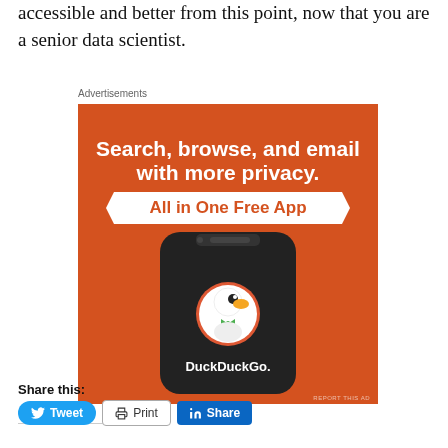accessible and better from this point, now that you are a senior data scientist.
Advertisements
[Figure (illustration): DuckDuckGo advertisement banner on orange background. Text: 'Search, browse, and email with more privacy. All in One Free App'. Shows a smartphone with DuckDuckGo logo and 'DuckDuckGo.' text. Bottom right: 'REPORT THIS AD'.]
Share this:
Tweet
Print
Share